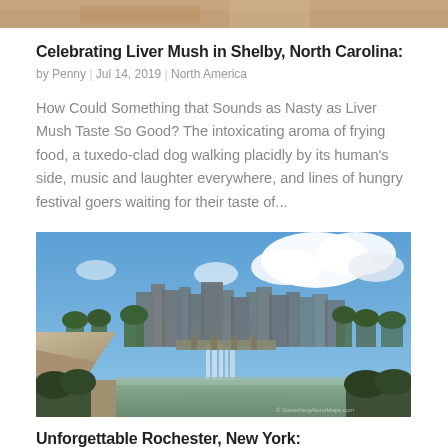[Figure (photo): Partial top of an image, appears to be a food or indoor scene, cropped at top of page]
Celebrating Liver Mush in Shelby, North Carolina:
by Penny | Jul 14, 2019 | North America
How Could Something that Sounds as Nasty as Liver Mush Taste So Good? The intoxicating aroma of frying food, a tuxedo-clad dog walking placidly by its human's side, music and laughter everywhere, and lines of hungry festival goers waiting for their taste of...
[Figure (photo): Panoramic cityscape photo showing a waterfall in the foreground with a city skyline including buildings and trees against a partly cloudy blue sky. Appears to be Rochester, New York.]
Unforgettable Rochester, New York: